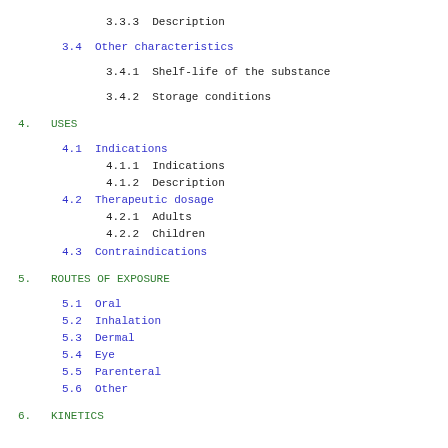3.3.3  Description
3.4  Other characteristics
3.4.1  Shelf-life of the substance
3.4.2  Storage conditions
4.   USES
4.1  Indications
4.1.1  Indications
4.1.2  Description
4.2  Therapeutic dosage
4.2.1  Adults
4.2.2  Children
4.3  Contraindications
5.   ROUTES OF EXPOSURE
5.1  Oral
5.2  Inhalation
5.3  Dermal
5.4  Eye
5.5  Parenteral
5.6  Other
6.   KINETICS